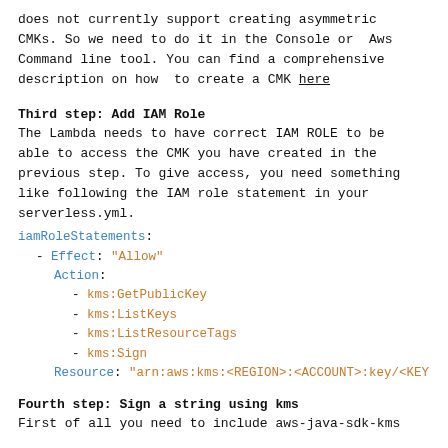does not currently support creating asymmetric CMKs. So we need to do it in the Console or Aws Command line tool. You can find a comprehensive description on how to create a CMK here
Third step: Add IAM Role
The Lambda needs to have correct IAM ROLE to be able to access the CMK you have created in the previous step. To give access, you need something like following the IAM role statement in your serverless.yml.
iamRoleStatements:
  - Effect: "Allow"
    Action:
      - kms:GetPublicKey
      - kms:ListKeys
      - kms:ListResourceTags
      - kms:Sign
    Resource: "arn:aws:kms:<REGION>:<ACCOUNT>:key/<KEY
Fourth step: Sign a string using kms
First of all you need to include aws-java-sdk-kms